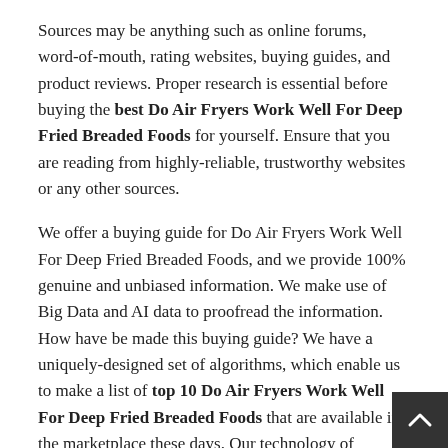Sources may be anything such as online forums, word-of-mouth, rating websites, buying guides, and product reviews. Proper research is essential before buying the best Do Air Fryers Work Well For Deep Fried Breaded Foods for yourself. Ensure that you are reading from highly-reliable, trustworthy websites or any other sources.
We offer a buying guide for Do Air Fryers Work Well For Deep Fried Breaded Foods, and we provide 100% genuine and unbiased information. We make use of Big Data and AI data to proofread the information. How have be made this buying guide? We have a uniquely-designed set of algorithms, which enable us to make a list of top 10 Do Air Fryers Work Well For Deep Fried Breaded Foods that are available in the marketplace these days. Our technology of bringing together a list depends on the factors such as:
Brand Value
Features & Specifications
Product Value